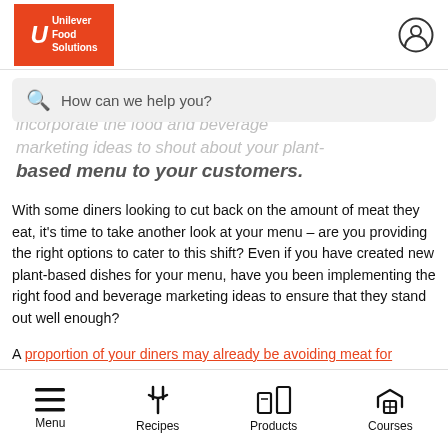Unilever Food Solutions
tap into the trend? Find out what how you incorporate the food and beverage marketing ideas to shout about your plant-based menu to your customers.
How can we help you?
With some diners looking to cut back on the amount of meat they eat, it's time to take another look at your menu – are you providing the right options to cater to this shift? Even if you have created new plant-based dishes for your menu, have you been implementing the right food and beverage marketing ideas to ensure that they stand out well enough?
A proportion of your diners may already be avoiding meat for religious or ethical reasons, and others for the impact on the environment. Also, since Covid-19, people are increasingly
Menu | Recipes | Products | Courses